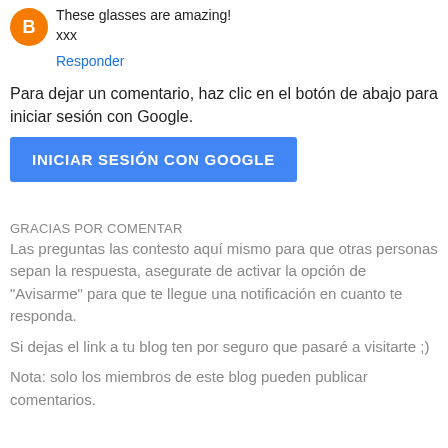[Figure (logo): Orange circular avatar/logo icon for a comment author]
These glasses are amazing!
xxx
Responder
Para dejar un comentario, haz clic en el botón de abajo para iniciar sesión con Google.
[Figure (other): Blue button labeled INICIAR SESIÓN CON GOOGLE]
GRACIAS POR COMENTAR
Las preguntas las contesto aquí mismo para que otras personas sepan la respuesta, asegurate de activar la opción de "Avisarme" para que te llegue una notificación en cuanto te responda.
Si dejas el link a tu blog ten por seguro que pasaré a visitarte ;)
Nota: solo los miembros de este blog pueden publicar comentarios.